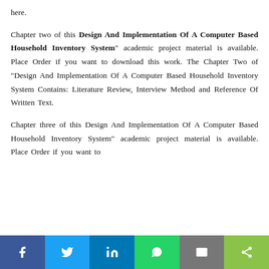here.
Chapter two of this Design And Implementation Of A Computer Based Household Inventory System" academic project material is available. Place Order if you want to download this work. The Chapter Two of “Design And Implementation Of A Computer Based Household Inventory System Contains: Literature Review, Interview Method and Reference Of Written Text.
Chapter three of this Design And Implementation Of A Computer Based Household Inventory System” academic project material is available. Place Order if you want to
f  t  in  [whatsapp]  [email]  [share]